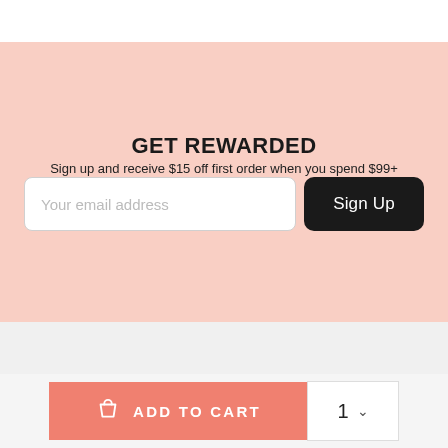GET REWARDED
Sign up and receive $15 off first order when you spend $99+
Your email address
Sign Up
ADD TO CART
1